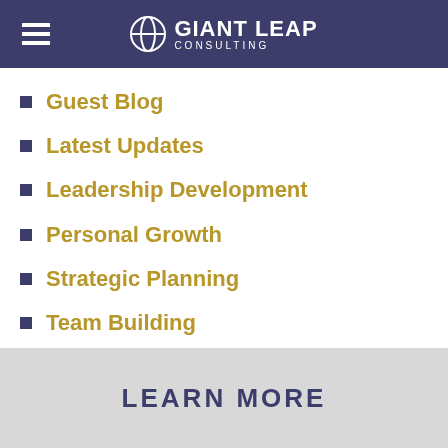Giant Leap Consulting
Guest Blog
Latest Updates
Leadership Development
Personal Growth
Strategic Planning
Team Building
LEARN MORE